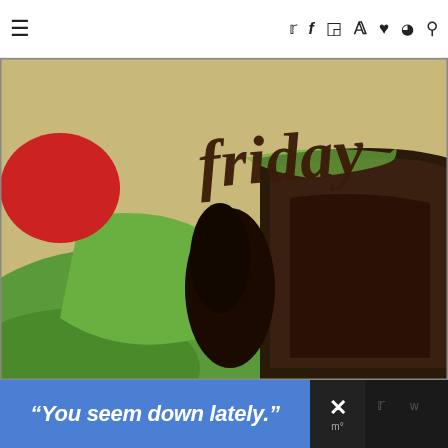Navigation bar with hamburger menu and social icons (Twitter, Facebook, Instagram, Pinterest, Heart, RSS, Search)
[Figure (photo): Close-up photo of a chocolate cake slice with green frosting and a red element, with cursive text 'friday' overlaid on a tan/cream background]
[Figure (photo): Partially visible banner image with colorful products and partial text starting with 'F']
“You seem down lately.”